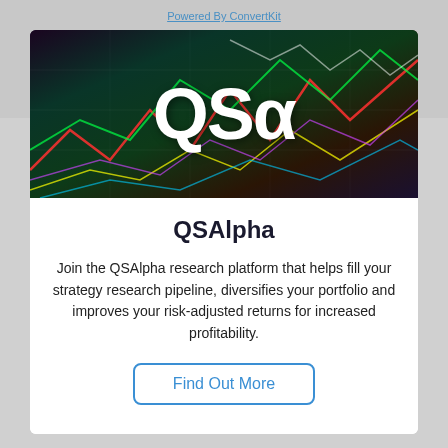Powered By ConvertKit
[Figure (illustration): QSAlpha banner image with colorful stock market chart lines in the background and large white bold text 'QSα' overlaid in the center]
QSAlpha
Join the QSAlpha research platform that helps fill your strategy research pipeline, diversifies your portfolio and improves your risk-adjusted returns for increased profitability.
Find Out More